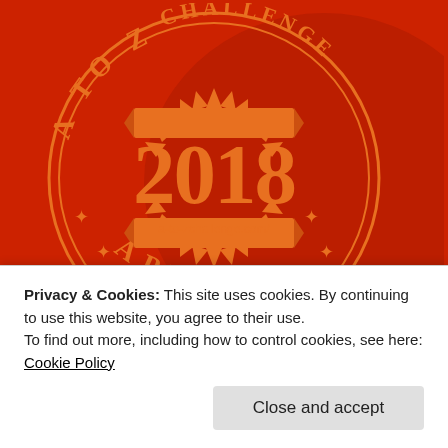[Figure (logo): A to Z Challenge 2018 April badge/stamp on red background. Circular stamp design with orange text reading 'A TO Z CHALLENGE', '2018', 'APRIL', and 'a-to-zchallenge.com/'. Decorative stars and sunburst elements in orange on red.]
Privacy & Cookies: This site uses cookies. By continuing to use this website, you agree to their use.
To find out more, including how to control cookies, see here: Cookie Policy
Close and accept